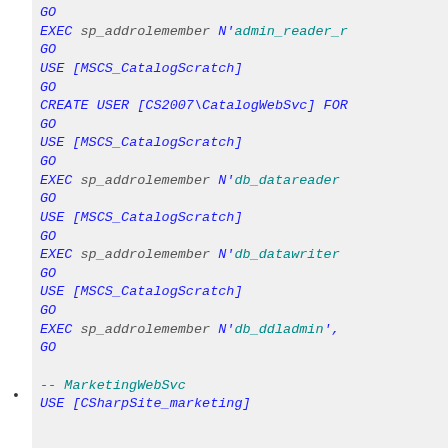GO
EXEC sp_addrolemember N'admin_reader_r
GO
USE [MSCS_CatalogScratch]
GO
CREATE USER [CS2007\CatalogWebSvc] FOR
GO
USE [MSCS_CatalogScratch]
GO
EXEC sp_addrolemember N'db_datareader
GO
USE [MSCS_CatalogScratch]
GO
EXEC sp_addrolemember N'db_datawriter
GO
USE [MSCS_CatalogScratch]
GO
EXEC sp_addrolemember N'db_ddladmin',
GO

-- MarketingWebSvc
USE [CSharpSite_marketing]